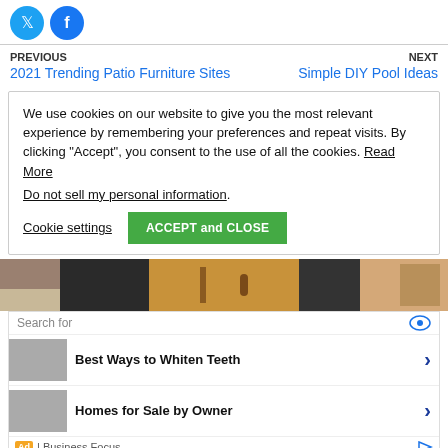[Figure (logo): Twitter and Facebook social media icon buttons (circular blue icons)]
PREVIOUS
2021 Trending Patio Furniture Sites
NEXT
Simple DIY Pool Ideas
We use cookies on our website to give you the most relevant experience by remembering your preferences and repeat visits. By clicking “Accept”, you consent to the use of all the cookies. Read More
Do not sell my personal information.
Cookie settings   ACCEPT and CLOSE
[Figure (photo): Banner image showing kitchen/cabinet scenes in three segments]
Search for
Best Ways to Whiten Teeth
Homes for Sale by Owner
Ad | Business Focus